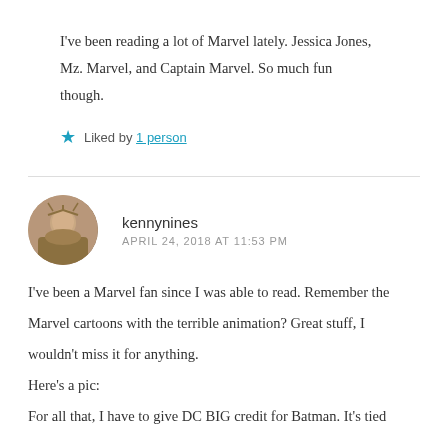I've been reading a lot of Marvel lately. Jessica Jones, Mz. Marvel, and Captain Marvel. So much fun though.
★ Liked by 1 person
kennynines
APRIL 24, 2018 AT 11:53 PM
I've been a Marvel fan since I was able to read. Remember the Marvel cartoons with the terrible animation? Great stuff, I wouldn't miss it for anything.
Here's a pic:
For all that, I have to give DC BIG credit for Batman. It's tied